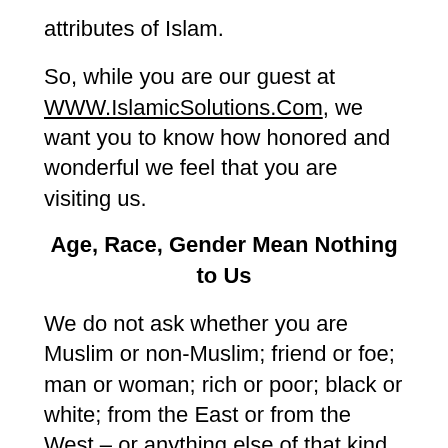attributes of Islam.
So, while you are our guest at WWW.IslamicSolutions.Com, we want you to know how honored and wonderful we feel that you are visiting us.
Age, Race, Gender Mean Nothing to Us
We do not ask whether you are Muslim or non-Muslim; friend or foe; man or woman; rich or poor; black or white; from the East or from the West – or anything else of that kind.
All those bins and categories in which human beings have cabined and cribbed themselves, as